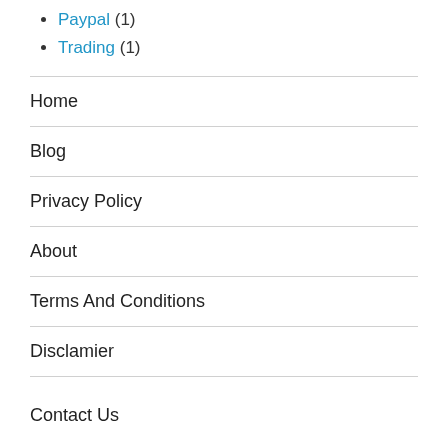Paypal (1)
Trading (1)
Home
Blog
Privacy Policy
About
Terms And Conditions
Disclamier
Contact Us